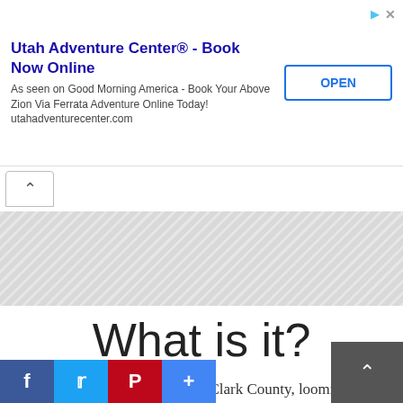[Figure (screenshot): Advertisement banner for Utah Adventure Center with title, body text, and OPEN button]
[Figure (screenshot): Collapsed browser tab with up-arrow button and hatched/striped area representing collapsed content]
What is it?
Located on the eastern edge of Clark County, looming on the horizon several thousand feet above the residents of Vancouver, Washington, is
[Figure (screenshot): Social share bar with Facebook, Twitter, Pinterest, and plus buttons, and a back-to-top button]